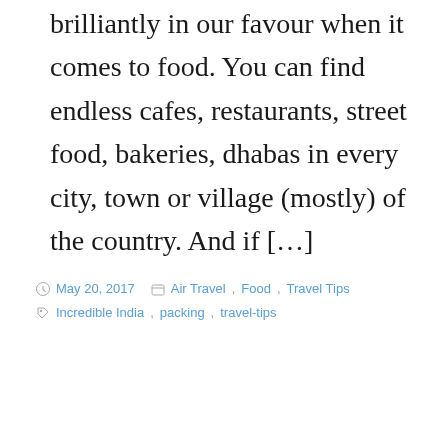brilliantly in our favour when it comes to food. You can find endless cafes, restaurants, street food, bakeries, dhabas in every city, town or village (mostly) of the country. And if […]
May 20, 2017  Air Travel, Food, Travel Tips  Incredible India, packing, travel-tips